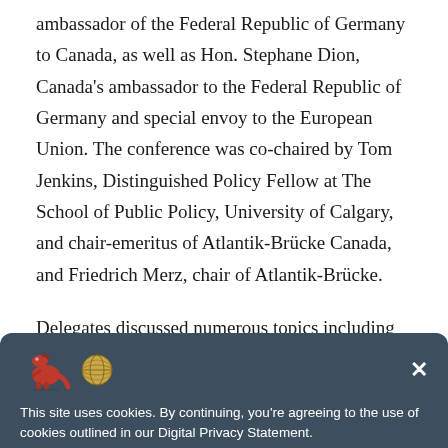ambassador of the Federal Republic of Germany to Canada, as well as Hon. Stephane Dion, Canada's ambassador to the Federal Republic of Germany and special envoy to the European Union. The conference was co-chaired by Tom Jenkins, Distinguished Policy Fellow at The School of Public Policy, University of Calgary, and chair-emeritus of Atlantik-Brücke Canada, and Friedrich Merz, chair of Atlantik-Brücke.
Delegates discussed numerous topics including the importance and future of trade, the China question, digital transformation and cybersecurity as well as electoral interference.
[Figure (screenshot): Cookie consent banner with dark blue-grey background, dinosaur and globe emoji icons, a close button (×), and text: 'This site uses cookies. By continuing, you're agreeing to the use of cookies outlined in our Digital Privacy Statement.']